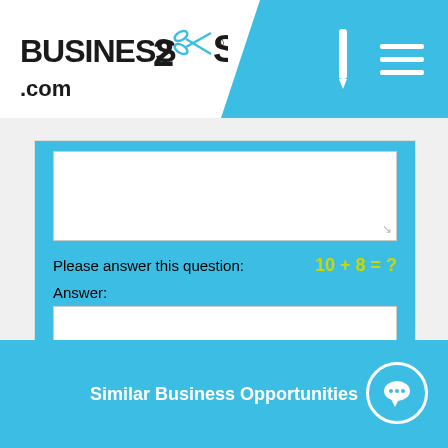[Figure (logo): Business2Sell.com logo in black text with scissors icon]
Please answer this question:
Answer:
Submit
Similar Business Opportunities